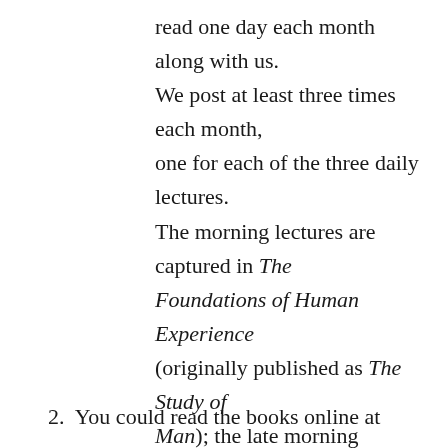read one day each month along with us. We post at least three times each month, one for each of the three daily lectures. The morning lectures are captured in The Foundations of Human Experience (originally published as The Study of Man); the late morning lectures in Practical Advice to Teachers; and the more informal afternoon sessions in Discussions with Teachers.
2. You could read the books online at